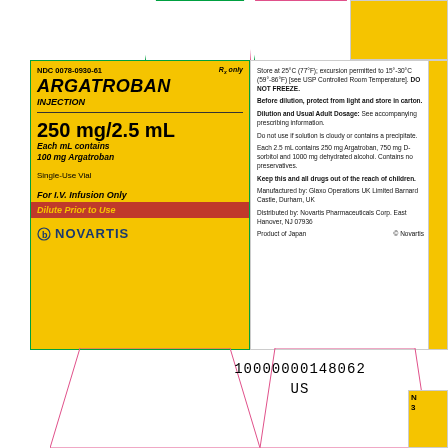NDC 0078-0930-61   Rx only
ARGATROBAN INJECTION
250 mg/2.5 mL
Each mL contains 100 mg Argatroban
Single-Use Vial
For I.V. Infusion Only
Dilute Prior to Use
NOVARTIS
Store at 25°C (77°F); excursion permitted to 15°-30°C (59°-86°F) [see USP Controlled Room Temperature]. DO NOT FREEZE.
Before dilution, protect from light and store in carton.
Dilution and Usual Adult Dosage: See accompanying prescribing information.
Do not use if solution is cloudy or contains a precipitate.
Each 2.5 mL contains 250 mg Argatroban, 750 mg D-sorbitol and 1000 mg dehydrated alcohol. Contains no preservatives.
Keep this and all drugs out of the reach of children.
Manufactured by: Glaxo Operations UK Limited Barnard Castle, Durham, UK
Distributed by: Novartis Pharmaceuticals Corp. East Hanover, NJ 07936
Product of Japan   © Novartis
10000000148062 US